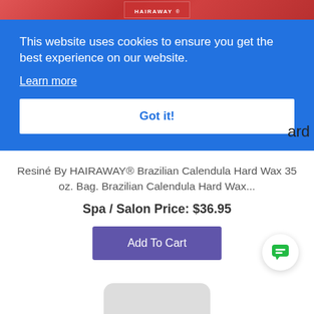[Figure (photo): Top portion of a product image showing Hairaway branded packaging with red/pink background]
This website uses cookies to ensure you get the best experience on our website.
Learn more
Got it!
ard
Resiné By HAIRAWAY® Brazilian Calendula Hard Wax 35 oz. Bag. Brazilian Calendula Hard Wax...
Spa / Salon Price: $36.95
Add To Cart
[Figure (illustration): Green chat bubble icon on white circular button]
[Figure (photo): Bottom portion of a product image, rounded top gray shape visible at bottom of page]